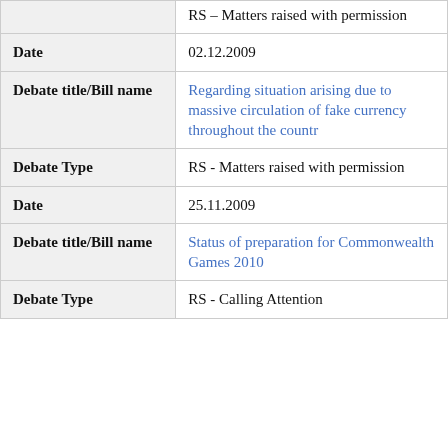|  | RS – Matters raised with permission |
| Date | 02.12.2009 |
| Debate title/Bill name | Regarding situation arising due to massive circulation of fake currency throughout the countr |
| Debate Type | RS - Matters raised with permission |
| Date | 25.11.2009 |
| Debate title/Bill name | Status of preparation for Commonwealth Games 2010 |
| Debate Type | RS - Calling Attention |